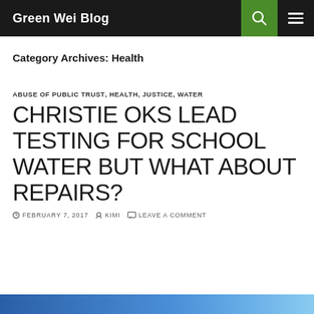Green Wei Blog
Category Archives: Health
ABUSE OF PUBLIC TRUST, HEALTH, JUSTICE, WATER
CHRISTIE OKS LEAD TESTING FOR SCHOOL WATER BUT WHAT ABOUT REPAIRS?
FEBRUARY 7, 2017  KIMI  LEAVE A COMMENT